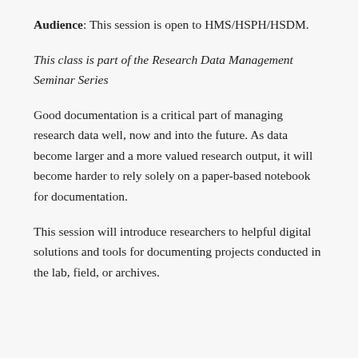Audience: This session is open to HMS/HSPH/HSDM.
This class is part of the Research Data Management Seminar Series
Good documentation is a critical part of managing research data well, now and into the future. As data become larger and a more valued research output, it will become harder to rely solely on a paper-based notebook for documentation.
This session will introduce researchers to helpful digital solutions and tools for documenting projects conducted in the lab, field, or archives.